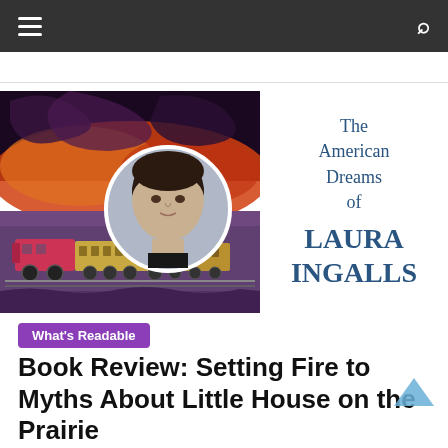Navigation bar with hamburger menu and search icon
[Figure (illustration): Book cover image for 'The American Dreams of Laura Ingalls' showing a vintage steam train illustration with fiery sky on the left and a circular portrait of a young woman (Laura Ingalls) overlaid. On the right, the book title text: The American Dreams of LAURA INGALLS in dark blue serif font.]
What's Readable
Book Review: Setting Fire to Myths About Little House on the Prairie
February 27, 2018  •  Sean Derrick  •  0 Comments  •  Book